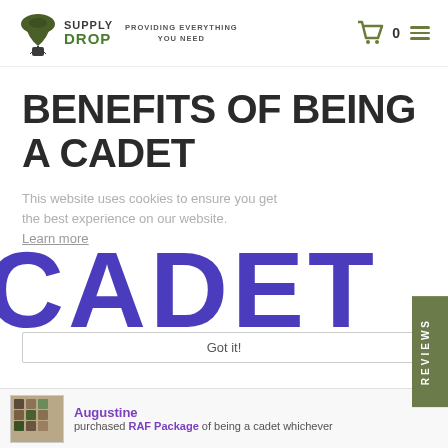SUPPLY DROP — PROVIDING EVERYTHING YOU NEED
BENEFITS OF BEING A CADET
This website uses cookies to ensure you get the best experience on our website.
Learn more
Got it!
[Figure (illustration): Large bold purple text reading CADET overlaid across the page]
REVIEWS
Augustine
purchased RAF Package of being a cadet whichever